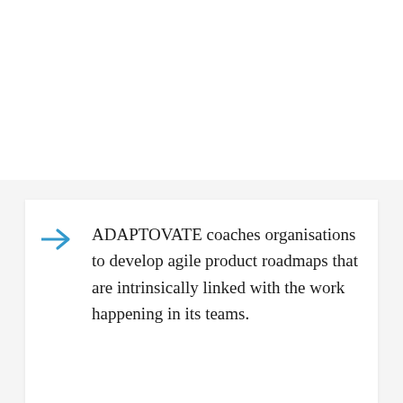ADAPTOVATE coaches organisations to develop agile product roadmaps that are intrinsically linked with the work happening in its teams.